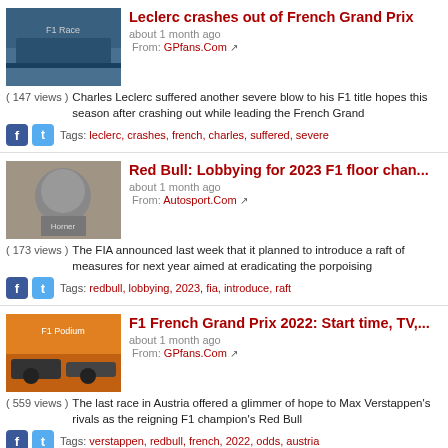Leclerc crashes out of French Grand Prix | about 1 month ago | From: GPfans.Com | (147 views) Charles Leclerc suffered another severe blow to his F1 title hopes this season after crashing out while leading the French Grand | Tags: leclerc, crashes, french, charles, suffered, severe
Red Bull: Lobbying for 2023 F1 floor chan... | about 1 month ago | From: Autosport.Com | (173 views) The FIA announced last week that it planned to introduce a raft of measures for next year aimed at eradicating the porpoising | Tags: redbull, lobbying, 2023, fia, introduce, raft
F1 French Grand Prix 2022: Start time, TV,... | about 1 month ago | From: GPfans.Com | (559 views) The last race in Austria offered a glimmer of hope to Max Verstappen's rivals as the reigning F1 champion's Red Bull | Tags: verstappen, redbull, french, 2022, odds, austria
Alpine find culprits for reliability wobbles | about 1 month ago | From: PlanetF1.Com